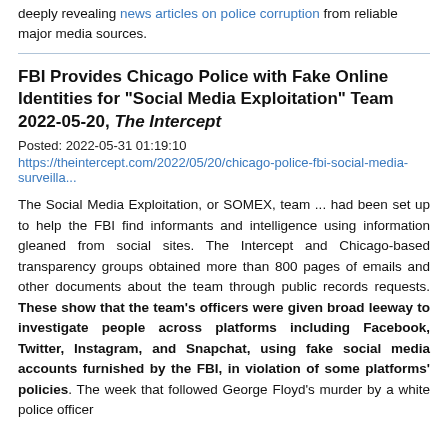deeply revealing news articles on police corruption from reliable major media sources.
FBI Provides Chicago Police with Fake Online Identities for "Social Media Exploitation" Team 2022-05-20, The Intercept
Posted: 2022-05-31 01:19:10
https://theintercept.com/2022/05/20/chicago-police-fbi-social-media-surveilla...
The Social Media Exploitation, or SOMEX, team ... had been set up to help the FBI find informants and intelligence using information gleaned from social sites. The Intercept and Chicago-based transparency groups obtained more than 800 pages of emails and other documents about the team through public records requests. These show that the team's officers were given broad leeway to investigate people across platforms including Facebook, Twitter, Instagram, and Snapchat, using fake social media accounts furnished by the FBI, in violation of some platforms' policies. The week that followed George Floyd's murder by a white police officer